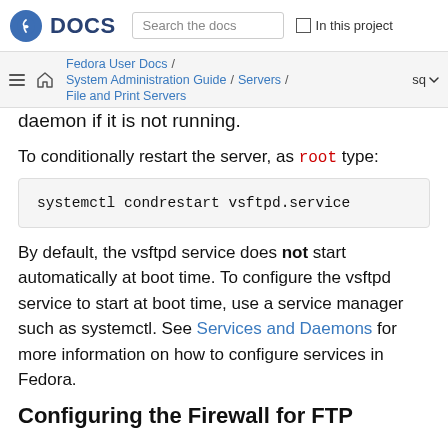DOCS | Search the docs | In this project
Fedora User Docs / System Administration Guide / Servers / File and Print Servers | sq
daemon if it is not running.
To conditionally restart the server, as root type:
systemctl condrestart vsftpd.service
By default, the vsftpd service does not start automatically at boot time. To configure the vsftpd service to start at boot time, use a service manager such as systemctl. See Services and Daemons for more information on how to configure services in Fedora.
Configuring the Firewall for FTP